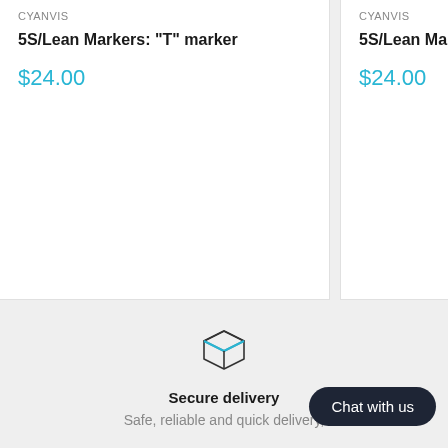CYANVIS
5S/Lean Markers: "T" marker
$24.00
CYANVIS
5S/Lean Markers: C
$24.00
[Figure (illustration): Box/package icon representing secure delivery]
Secure delivery
Safe, reliable and quick delivery,
Chat with us